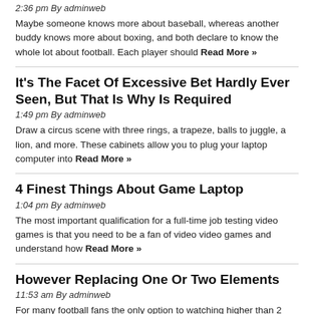2:36 pm By adminweb
Maybe someone knows more about baseball, whereas another buddy knows more about boxing, and both declare to know the whole lot about football. Each player should Read More »
It's The Facet Of Excessive Bet Hardly Ever Seen, But That Is Why Is Required
1:49 pm By adminweb
Draw a circus scene with three rings, a trapeze, balls to juggle, a lion, and more. These cabinets allow you to plug your laptop computer into Read More »
4 Finest Things About Game Laptop
1:04 pm By adminweb
The most important qualification for a full-time job testing video games is that you need to be a fan of video video games and understand how Read More »
However Replacing One Or Two Elements
11:53 am By adminweb
For many football fans the only option to watching higher than 2 NFL